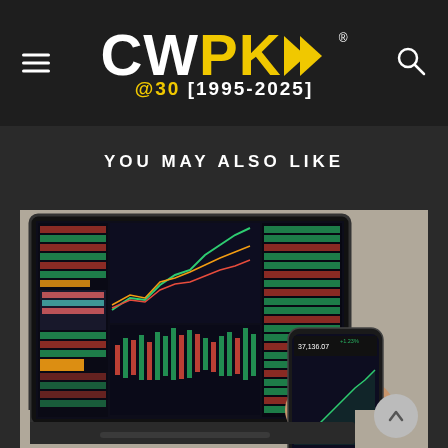[Figure (logo): CWPK logo with yellow arrows and tagline @30 [1995-2025] on dark background, with hamburger menu icon on left and search icon on right]
YOU MAY ALSO LIKE
[Figure (photo): A hand holding a smartphone displaying a stock trading chart app, with a laptop in the background showing a colorful stock market trading dashboard with multiple charts and data tables]